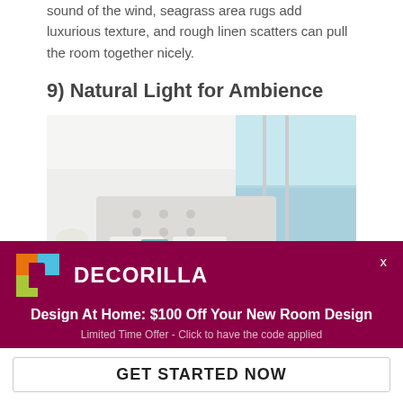sound of the wind, seagrass area rugs add luxurious texture, and rough linen scatters can pull the room together nicely.
9) Natural Light for Ambience
[Figure (photo): A bright, airy beach-view bedroom with white bedding, tufted headboard, teal accent pillows, floor-to-ceiling windows overlooking the ocean and balcony, a bedside lamp, and a white armchair in the corner.]
DECORILLA
Design At Home: $100 Off Your New Room Design
Limited Time Offer - Click to have the code applied
GET STARTED NOW